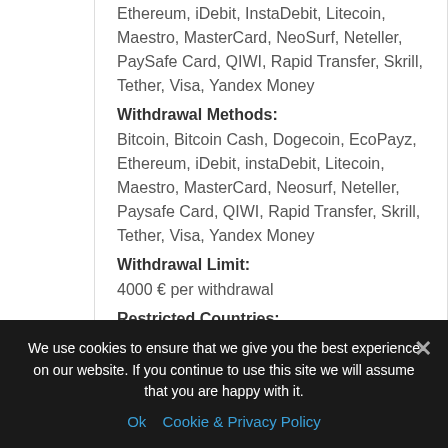Ethereum, iDebit, InstaDebit, Litecoin, Maestro, MasterCard, NeoSurf, Neteller, PaySafe Card, QIWI, Rapid Transfer, Skrill, Tether, Visa, Yandex Money
Withdrawal Methods:
Bitcoin, Bitcoin Cash, Dogecoin, EcoPayz, Ethereum, iDebit, instaDebit, Litecoin, Maestro, MasterCard, Neosurf, Neteller, Paysafe Card, QIWI, Rapid Transfer, Skrill, Tether, Visa, Yandex Money
Withdrawal Limit:
4000 € per withdrawal
Restricted Countries:
Australia, Belgium, Belize, Bulgaria, China
We use cookies to ensure that we give you the best experience on our website. If you continue to use this site we will assume that you are happy with it.
Ok   Cookie & Privacy Policy